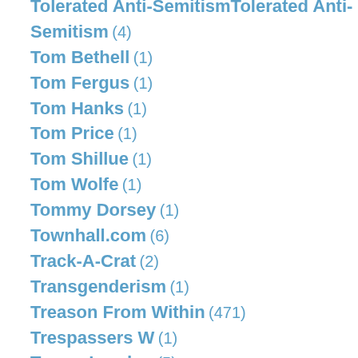Tolerated Anti-Semitism (4)
Tom Bethell (1)
Tom Fergus (1)
Tom Hanks (1)
Tom Price (1)
Tom Shillue (1)
Tom Wolfe (1)
Tommy Dorsey (1)
Townhall.com (6)
Track-A-Crat (2)
Transgenderism (1)
Treason From Within (471)
Trespassers W (1)
Trevor Loudon (5)
Trey Gowdy (7)
TrogloPundit (68)
Trotsky (1)
TSA (1)
Tucker Carlson (5)
Turkey (6)